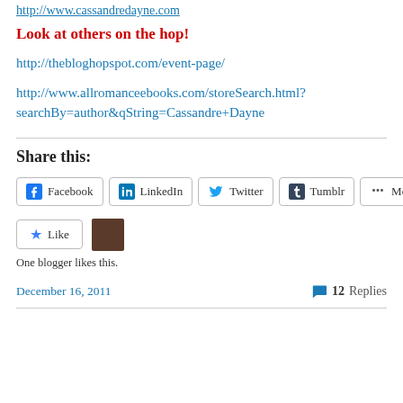http://www.cassandredayne.com
Look at others on the hop!
http://thebloghopspot.com/event-page/
http://www.allromanceebooks.com/storeSearch.html?searchBy=author&qString=Cassandre+Dayne
Share this:
[Figure (other): Social share buttons: Facebook, LinkedIn, Twitter, Tumblr, More]
[Figure (other): Like button with star icon and user avatar thumbnail]
One blogger likes this.
December 16, 2011
12 Replies